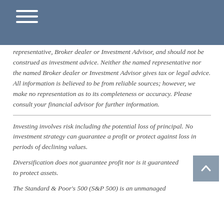representative, Broker dealer or Investment Advisor, and should not be construed as investment advice. Neither the named representative nor the named Broker dealer or Investment Advisor gives tax or legal advice. All information is believed to be from reliable sources; however, we make no representation as to its completeness or accuracy. Please consult your financial advisor for further information.
Investing involves risk including the potential loss of principal. No investment strategy can guarantee a profit or protect against loss in periods of declining values.
Diversification does not guarantee profit nor is it guaranteed to protect assets.
The Standard & Poor's 500 (S&P 500) is an unmanaged